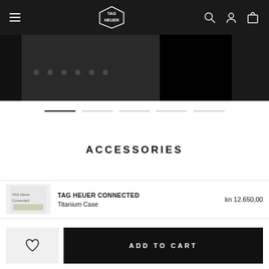TAG Heuer navigation bar with menu, logo, search, account, and cart icons
[Figure (photo): Dark hero image strip showing partial product video frame with dark background]
[Figure (other): Carousel navigation lines, first line active (dark), remaining lines light grey]
ACCESSORIES
| Image | Product Name | Price |
| --- | --- | --- |
| TAG Heuer Connected | TAG HEUER CONNECTED
Titanium Case | kn 12.650,00 |
ADD TO CART